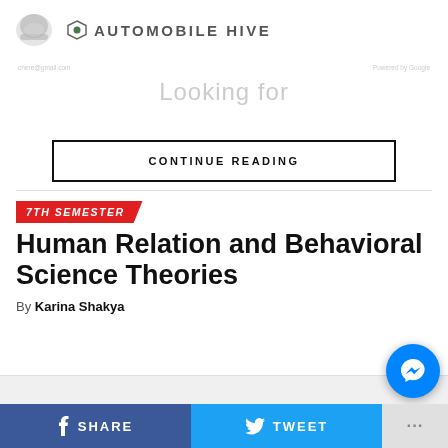AUTOMOBILE HIVE
[Figure (screenshot): Automobile Hive website header with helmet logo and site name]
Looking for
CONTINUE READING
7TH SEMESTER
Human Relation and Behavioral Science Theories
By Karina Shakya
SHARE  TWEET  ...